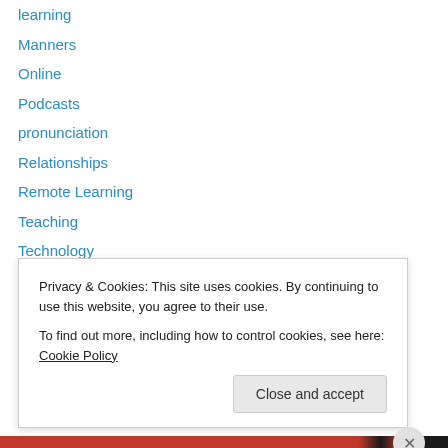learning
Manners
Online
Podcasts
pronunciation
Relationships
Remote Learning
Teaching
Technology
TESOL
TOEFL
Travel
Uncategorized
Privacy & Cookies: This site uses cookies. By continuing to use this website, you agree to their use.
To find out more, including how to control cookies, see here: Cookie Policy